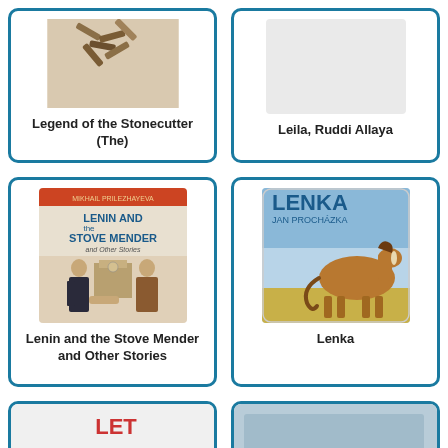[Figure (photo): Book cover for 'Legend of the Stonecutter (The)' showing stone cutter tools on a beige background]
Legend of the Stonecutter (The)
[Figure (photo): Partial book card for 'Leila, Ruddi Allaya' with no visible cover image]
Leila, Ruddi Allaya
[Figure (photo): Book cover for 'Lenin and the Stove Mender and Other Stories' showing Lenin and a man shaking hands, illustrated]
Lenin and the Stove Mender and Other Stories
[Figure (photo): Book cover for 'Lenka' by Jan Prochazka showing a brown horse on golden field background]
Lenka
[Figure (photo): Partial bottom of a card showing a book cover, partially visible]
[Figure (photo): Partial bottom of a card showing a book cover, partially visible]